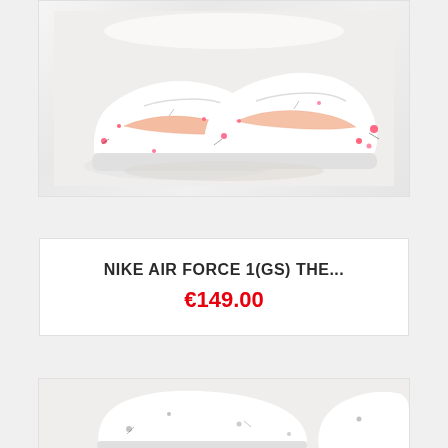[Figure (photo): White Nike Air Force 1 (GS) sneakers with pink and black paint splatter custom design, shown as a pair on a light background]
NIKE AIR FORCE 1(GS) THE...
€149.00
[Figure (photo): Partial view of another pair of Nike sneakers with splatter design, showing the toe and side area in white/grey tones]